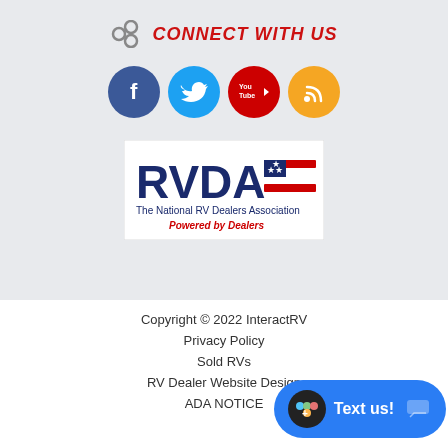CONNECT WITH US
[Figure (illustration): Four social media icon circles: Facebook (dark blue), Twitter (light blue), YouTube (red), RSS (orange/yellow)]
[Figure (logo): RVDA - The National RV Dealers Association - Powered by Dealers logo]
Copyright © 2022 InteractRV
Privacy Policy
Sold RVs
RV Dealer Website Design
ADA NOTICE